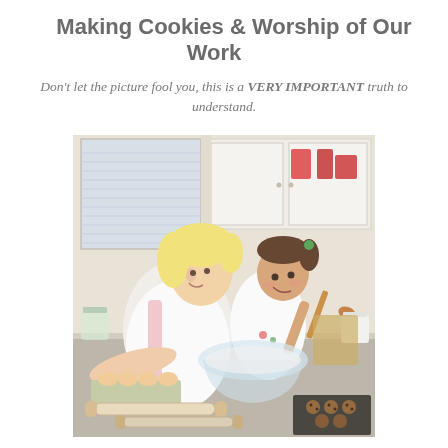Making Cookies & Worship of Our Work
Don't let the picture fool you, this is a VERY IMPORTANT truth to understand.
[Figure (photo): A smiling mother and young daughter baking cookies together in a bright kitchen. The child is stirring a glass mixing bowl while the mother leans in smiling. On the counter are eggs in a carton, rolling pins, flour, and a baking tray with cookies. Kitchen cabinets and a window are visible in the background.]